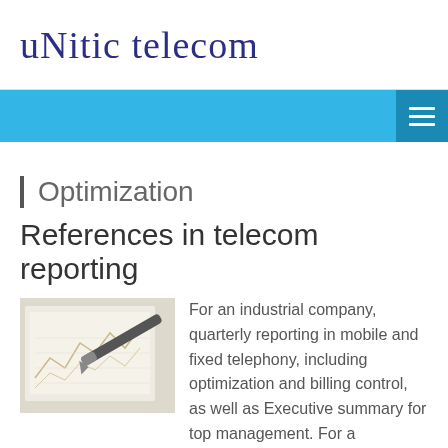unitic telecom
Optimization
References in telecom reporting
[Figure (photo): Financial documents with charts and a pen on top, suggesting telecom billing reports]
For an industrial company, quarterly reporting in mobile and fixed telephony, including optimization and billing control, as well as Executive summary for top management. For a